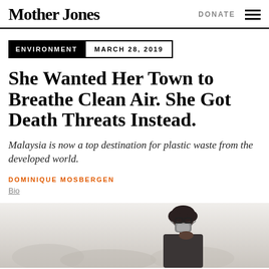Mother Jones | DONATE
ENVIRONMENT   MARCH 28, 2019
She Wanted Her Town to Breathe Clean Air. She Got Death Threats Instead.
Malaysia is now a top destination for plastic waste from the developed world.
DOMINIQUE MOSBERGEN
Bio
[Figure (photo): Person wearing a respirator mask, partially visible at the bottom of the page, against a hazy background.]